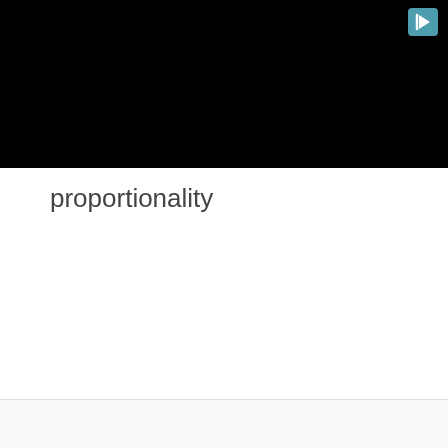[Figure (screenshot): Black video player area with a light blue play button icon in the upper right corner]
proportionality